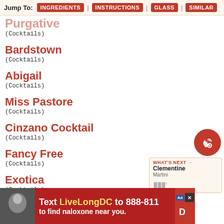Jump To: INGREDIENTS | INSTRUCTIONS | GLASS | SIMILAR
Purgative
(Cocktails)
Bardstown
(Cocktails)
Abigail
(Cocktails)
Miss Pastore
(Cocktails)
Cinzano Cocktail
(Cocktails)
Fancy Free
(Cocktails)
Exotica
(Cocktails)
A...
(Co...